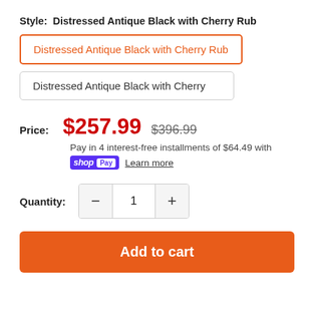Style:  Distressed Antique Black with Cherry Rub
Distressed Antique Black with Cherry Rub
Distressed Antique Black with Cherry
Price:  $257.99  $396.99
Pay in 4 interest-free installments of $64.49 with
shop Pay  Learn more
Quantity:  1
Add to cart